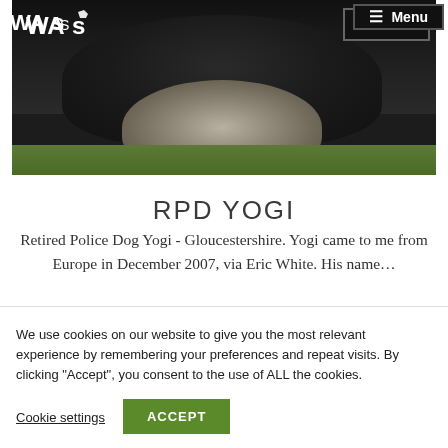WAGs — Menu navigation header
[Figure (photo): Close-up photo of a dark-furred dog (Keeshond/German Shepherd type) with a gold chain collar, photographed outdoors on green grass. The dog has thick black and grey fur with a lighter grey/cream ruff around the neck.]
RPD YOGI
Retired Police Dog Yogi - Gloucestershire. Yogi came to me from Europe in December 2007, via Eric White. His name...
We use cookies on our website to give you the most relevant experience by remembering your preferences and repeat visits. By clicking "Accept", you consent to the use of ALL the cookies.